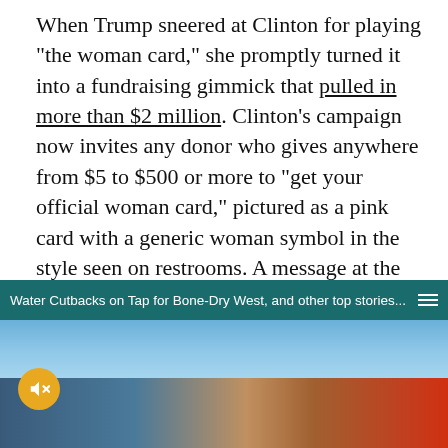When Trump sneered at Clinton for playing "the woman card," she promptly turned it into a fundraising gimmick that pulled in more than $2 million. Clinton's campaign now invites any donor who gives anywhere from $5 to $500 or more to "get your official woman card," pictured as a pink card with a generic woman symbol in the style seen on restrooms. A message at the bottom reads: "Congratulations! You're in the majority," and concludes with Hilary's retort at the time to Trump: "Deal me in."
[Figure (screenshot): A news media player banner showing headline 'Water Cutbacks on Tap for Bone-Dry West, and other top stories...' with a mute button over an image of a lake and arid landscape.]